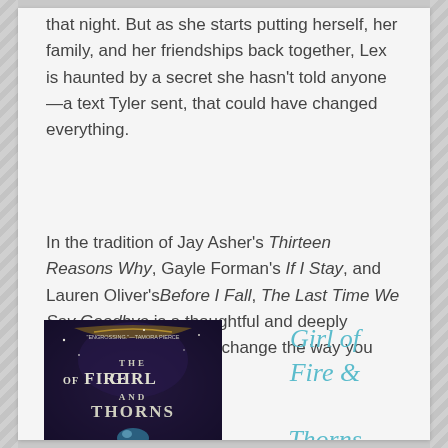that night. But as she starts putting herself, her family, and her friendships back together, Lex is haunted by a secret she hasn't told anyone—a text Tyler sent, that could have changed everything.
In the tradition of Jay Asher's Thirteen Reasons Why, Gayle Forman's If I Stay, and Lauren Oliver's Before I Fall, The Last Time We Say Goodbye is a thoughtful and deeply affecting novel that will change the way you look at life and death.
[Figure (illustration): Book cover of 'The Girl of Fire and Thorns' with dark fantasy imagery, quote 'ENGROSSING.' —TAMORA PIERCE at top]
Girl of Fire & Thorns